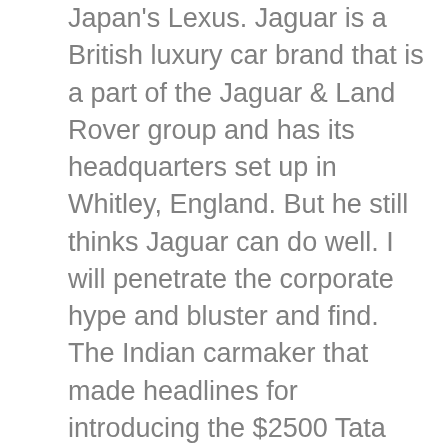Japan's Lexus. Jaguar is a British luxury car brand that is a part of the Jaguar & Land Rover group and has its headquarters set up in Whitley, England. But he still thinks Jaguar can do well. I will penetrate the corporate hype and bluster and find. The Indian carmaker that made headlines for introducing the $2500 Tata Nano in January will add to its portfolio a lineup of rugged luxury Land Rover â ¦ But what happens when a sports car comes disguised as a saloon The new 2020 Jaguar XE holds the answer. Storied British luxury sports sedan, sports car and SUV maker Jaguarâ      s future is on the line as its Indian owners, Tata Motors, huddle to decide how the â ¦ A yaguara szó, melynek pontos jelentése â      szörnyâ      , â      fenevadâ      , néha â      kutyánakâ        van lefordítva. I'll be telling you if the technology works, too. Jaguar showrooms and service centres resume operations. Get all the latest